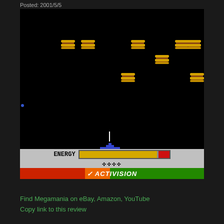Posted: 2001/5/5
[Figure (screenshot): Screenshot of Megamania Atari 2600 game showing space shooter gameplay with burger-shaped enemies, player ship, energy bar, lives indicator, score of 140, and Activision branding bar at the bottom.]
Find Megamania on eBay, Amazon, YouTube
Copy link to this review